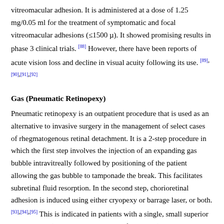vitreomacular adhesion. It is administered at a dose of 1.25 mg/0.05 ml for the treatment of symptomatic and focal vitreomacular adhesions (≤1500 µ). It showed promising results in phase 3 clinical trials. [88] However, there have been reports of acute vision loss and decline in visual acuity following its use. [89],[90],[91],[92]
Gas (Pneumatic Retinopexy)
Pneumatic retinopexy is an outpatient procedure that is used as an alternative to invasive surgery in the management of select cases of rhegmatogenous retinal detachment. It is a 2-step procedure in which the first step involves the injection of an expanding gas bubble intravitreally followed by positioning of the patient allowing the gas bubble to tamponade the break. This facilitates subretinal fluid resorption. In the second step, chorioretinal adhesion is induced using either cryopexy or barrage laser, or both. [93],[94],[95] This is indicated in patients with a single, small superior retinal break (superior 8 clock hours of the globe), extending <1 clock hour. A patient would need to maintain appropriate head position allowing optimal tamponade for >14 h/day for 5-7 days after the procedure. [96] The gases used for this procedure are fluorinated gases - C3F8 or sulfur hexafluoride (SF6). The volume of gas injected is 0.3 ml for C3F8 or 0.5